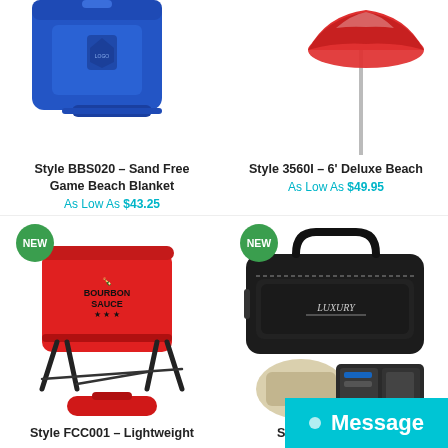[Figure (photo): Blue beach blanket bag product photo (cropped top)]
[Figure (photo): Red beach umbrella product photo (cropped top)]
Style BBS020 – Sand Free Game Beach Blanket
As Low As $43.25
Style 3560I – 6' Deluxe Beach
As Low As $49.95
[Figure (photo): NEW badge. Red lightweight folding camp chair with carrying case and 'Bourbon Sauce' logo imprint.]
[Figure (photo): NEW badge. Black duffel bag 'Luxury' logo with toiletry organizer accessories below.]
Style FCC001 – Lightweight
Style GDB002 – The
Message